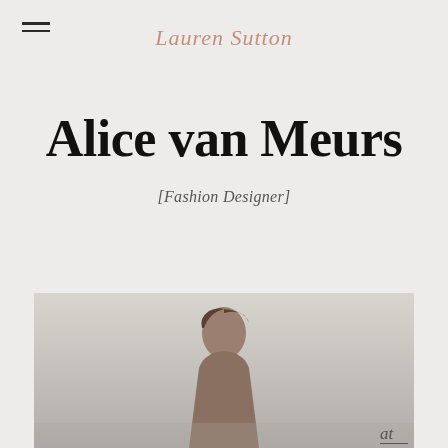Lauren Sutton
Alice van Meurs
[Fashion Designer]
[Figure (photo): Photograph of a woman (Alice van Meurs, fashion designer) cropped from shoulders, displayed at the bottom of the page, partially visible.]